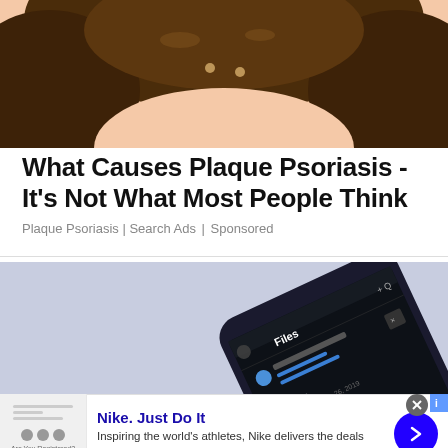[Figure (illustration): Illustrated/cartoon image of a person's head with dark brown hair, peach skin tones, viewed from above/back. Top portion of face visible.]
What Causes Plaque Psoriasis - It’s Not What Most People Think
Plaque Psoriasis | Search Ads | Sponsored
[Figure (screenshot): Photo of a smartphone lying on a light purple/blue surface. The phone screen shows a dark-themed file manager app with 'Files' header. App icons and folder entries visible including 'Apps' entry.]
[Figure (screenshot): Nike advertisement banner. Shows a thumbnail image on the left with form-like content. Ad title: Nike. Just Do It. Description: Inspiring the world's athletes, Nike delivers the deals. URL: www.nike.com. Blue circular arrow button on right.]